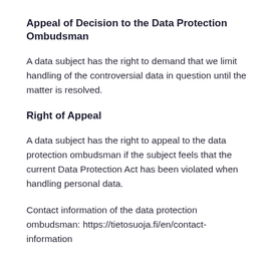Appeal of Decision to the Data Protection Ombudsman
A data subject has the right to demand that we limit handling of the controversial data in question until the matter is resolved.
Right of Appeal
A data subject has the right to appeal to the data protection ombudsman if the subject feels that the current Data Protection Act has been violated when handling personal data.
Contact information of the data protection ombudsman: https://tietosuoja.fi/en/contact-information